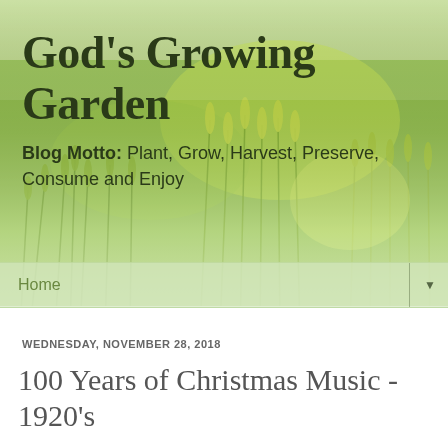[Figure (photo): Green wheat/grass field background photo used as blog header banner]
God's Growing Garden
Blog Motto: Plant, Grow, Harvest, Preserve, Consume and Enjoy
Home ▼
WEDNESDAY, NOVEMBER 28, 2018
100 Years of Christmas Music - 1920's